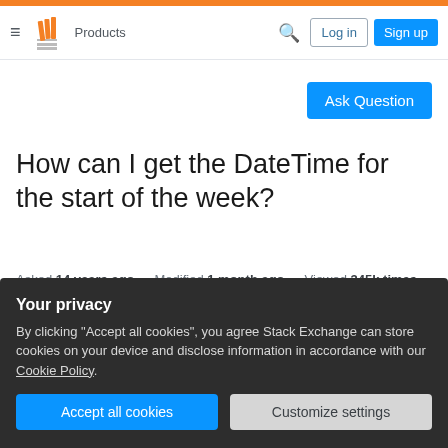Stack Overflow navigation: hamburger menu, logo, Products, search, Log in, Sign up
Ask Question
How can I get the DateTime for the start of the week?
Asked 14 years ago  Modified 1 month ago  Viewed 345k times
How do I find the start of the week (both Sunday and Monday) knowing just the current time in C#?
554
Your privacy
By clicking "Accept all cookies", you agree Stack Exchange can store cookies on your device and disclose information in accordance with our Cookie Policy.
Accept all cookies
Customize settings